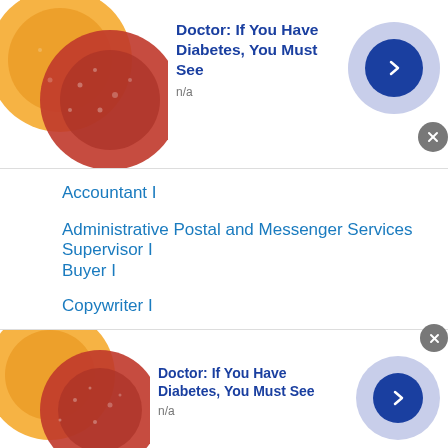[Figure (photo): Top ad banner with gummy candy image on left, blue chevron button on right. Title: Doctor: If You Have Diabetes, You Must See. Subtext: n/a]
Accountant I
Administrative Postal and Messenger Services Supervisor I
Buyer I
Copywriter I
IS Supervisor
See additional Similar Jobs →
This site uses cookies and other similar technologies to provide site functionality, analyze traffic and usage, and
[Figure (photo): Bottom ad banner with gummy candy image on left, blue chevron button on right. Title: Doctor: If You Have Diabetes, You Must See. Subtext: n/a]